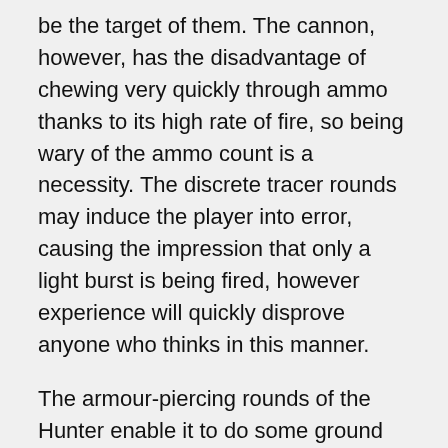be the target of them. The cannon, however, has the disadvantage of chewing very quickly through ammo thanks to its high rate of fire, so being wary of the ammo count is a necessity. The discrete tracer rounds may induce the player into error, causing the impression that only a light burst is being fired, however experience will quickly disprove anyone who thinks in this manner.
The armour-piercing rounds of the Hunter enable it to do some ground attack against light tanks, medium tanks, and pillboxes.
Radars
The Hunter F.1 is equipped with an AN/APG-30 rangefinding radar, located in the nose of the aircraft. It